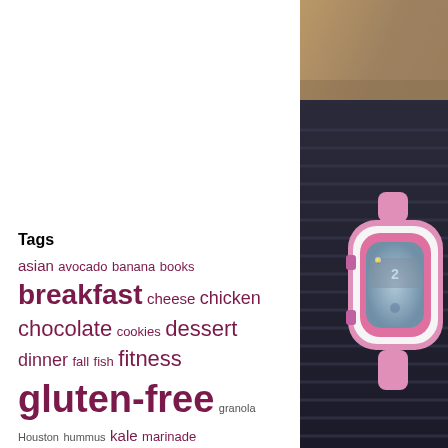[Figure (photo): Close-up photo of a pink and white sports/fitness watch on a person's wrist wearing dark navy ribbed clothing, visible on the right half of the page.]
Tags
asian avocado banana books breakfast cheese chicken chocolate cookies dessert dinner fall fish fitness gluten-free granola Houston hummus kale marinade mexican nutella oats pancakes parmesan pasta pizza pumpkin quinoa recipes restaurants running sides smoothie smoothies Snacks squash sweet